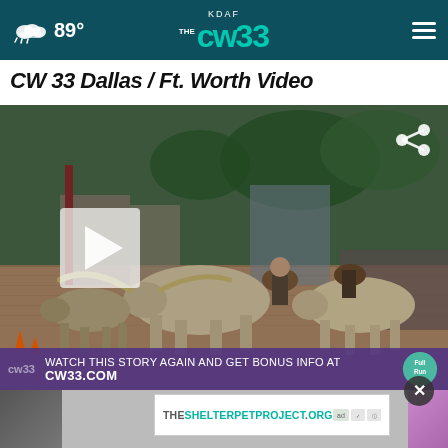KDAF CW 33 — 89° weather, navigation bar
CW 33 Dallas / Ft. Worth Video
[Figure (screenshot): Video thumbnail showing a cattle drive on a brick street in Fort Worth Stockyards, with a play button overlay and a bottom bar reading 'WATCH THIS STORY AGAIN AND GET BONUS INFO AT CW33.COM'. A share icon is visible in the top right of the video.]
[Figure (screenshot): Partial thumbnail strip below the main video showing additional video thumbnails]
THESHELTERPETPROJECT.ORG — ad banner with ad choice icons